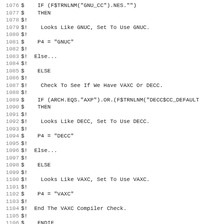Source code listing, lines 1076-1107, DCL/VMS script for compiler detection
1076 $    IF (F$TRNLNM("GNU_CC").NES."")
1077 $    THEN
1078 $!
1079 $!    Looks Like GNUC, Set To Use GNUC.
1080 $!
1081 $    P4 = "GNUC"
1082 $!
1083 $!  Else...
1084 $!
1085 $    ELSE
1086 $!
1087 $!    Check To See If We Have VAXC Or DECC.
1088 $!
1089 $    IF (ARCH.EQS."AXP").OR.(F$TRNLNM("DECC$CC_DEFAULT
1090 $    THEN
1091 $!
1092 $!    Looks Like DECC, Set To Use DECC.
1093 $!
1094 $    P4 = "DECC"
1095 $!
1096 $!  Else...
1097 $!
1098 $    ELSE
1099 $!
1100 $!    Looks Like VAXC, Set To Use VAXC.
1101 $!
1102 $    P4 = "VAXC"
1103 $!
1104 $!  End The VAXC Compiler Check.
1105 $!
1106 $    ENDIF
1107 $!